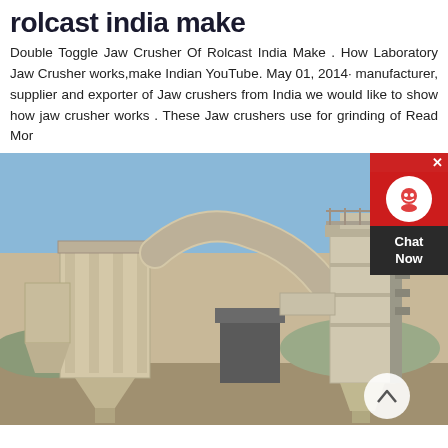rolcast india make
Double Toggle Jaw Crusher Of Rolcast India Make . How Laboratory Jaw Crusher works,make Indian YouTube. May 01, 2014· manufacturer, supplier and exporter of Jaw crushers from India we would like to show how jaw crusher works . These Jaw crushers use for grinding of Read Mor
[Figure (photo): Industrial machinery/mill equipment with large white cylindrical pipes and dust collectors in an outdoor industrial setting with blue sky background. A chat widget overlay appears on the right side.]